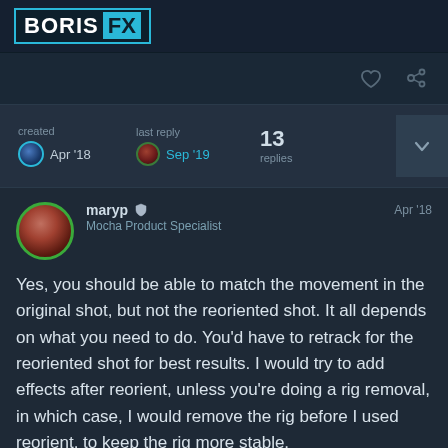[Figure (logo): Boris FX logo — white text 'BORIS' and 'FX' on teal background in dark box with teal border]
created Apr '18   last reply Sep '19   13 replies
maryp  Mocha Product Specialist   Apr '18
Yes, you should be able to match the movement in the original shot, but not the reoriented shot. It all depends on what you need to do. You'd have to retrack for the reoriented shot for best results. I would try to add effects after reorient, unless you're doing a rig removal, in which case, I would remove the rig before I used reorient, to keep the rig more stable.
1 / 14